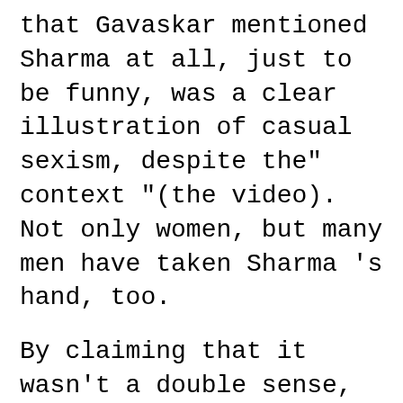that Gavaskar mentioned Sharma at all, just to be funny, was a clear illustration of casual sexism, despite the" context "(the video). Not only women, but many men have taken Sharma 's hand, too.
By claiming that it wasn't a double sense, LOL people defend Gavaskar. Yeah, it was not double sense, but in the commentary box it was also addressed why Anushka. Although it's funny of some people teaching moral to others who used to insult the wife of their idol themselves.
(@LoyalMIfan) September 25 , 2020 Nitin MI